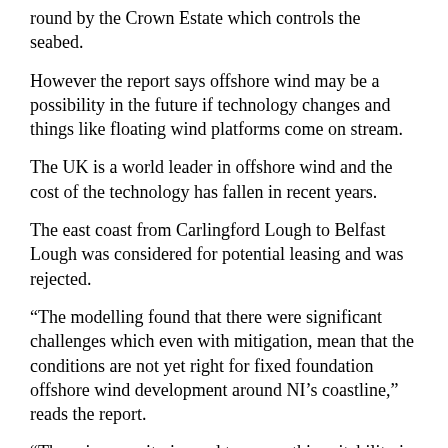round by the Crown Estate which controls the seabed.
However the report says offshore wind may be a possibility in the future if technology changes and things like floating wind platforms come on stream.
The UK is a world leader in offshore wind and the cost of the technology has fallen in recent years.
The east coast from Carlingford Lough to Belfast Lough was considered for potential leasing and was rejected.
“The modelling found that there were significant challenges which even with mitigation, mean that the conditions are not yet right for fixed foundation offshore wind development around NI’s coastline,” reads the report.
“The primary criteria used to assess this suitability is that 99% of the NI characterisation area is within 13km of the coast and is therefore restrained by risk and uncertainty associated with visual sensitivity from shore.”